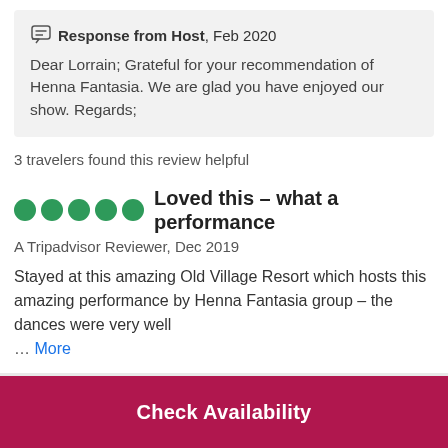Response from Host, Feb 2020
Dear Lorrain; Grateful for your recommendation of Henna Fantasia. We are glad you have enjoyed our show. Regards;
3 travelers found this review helpful
Loved this – what a performance
A Tripadvisor Reviewer, Dec 2019
Stayed at this amazing Old Village Resort which hosts this amazing performance by Henna Fantasia group – the dances were very well … More
Check Availability